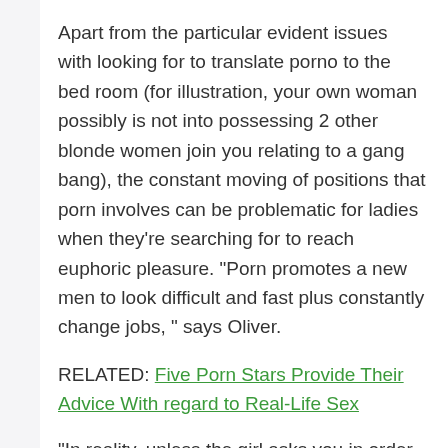Apart from the particular evident issues with looking for to translate porno to the bed room (for illustration, your own woman possibly is not into possessing 2 other blonde women join you relating to a gang bang), the constant moving of positions that porn involves can be problematic for ladies when they're searching for to reach euphoric pleasure. “Porn promotes a new men to look difficult and fast plus constantly change jobs, ” says Oliver.
RELATED: Five Porn Stars Provide Their Advice With regard to Real-Life Sex
“In reality, unless the girl asks you in order to go solid or even change positions, the girl doesn’t